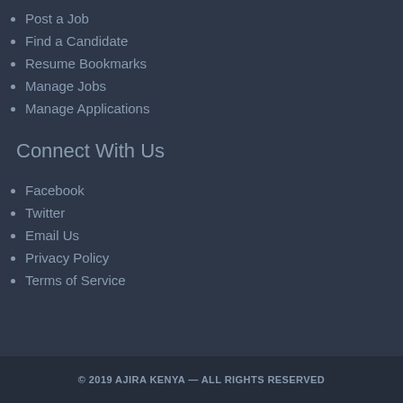Post a Job
Find a Candidate
Resume Bookmarks
Manage Jobs
Manage Applications
Connect With Us
Facebook
Twitter
Email Us
Privacy Policy
Terms of Service
© 2019 AJIRA KENYA — ALL RIGHTS RESERVED